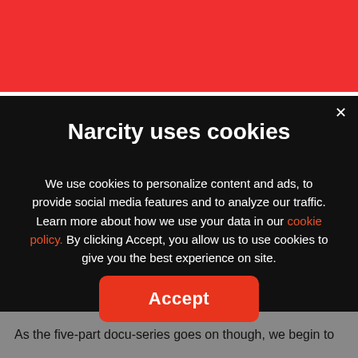[Figure (screenshot): Red header bar background from Narcity website]
Narcity uses cookies
We use cookies to personalize content and ads, to provide social media features and to analyze our traffic. Learn more about how we use your data in our cookie policy. By clicking Accept, you allow us to use cookies to give you the best experience on site.
Accept
As the five-part docu-series goes on though, we begin to